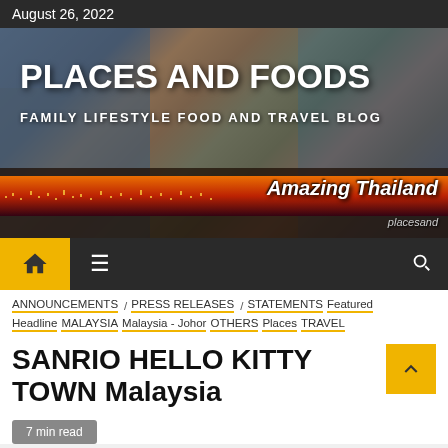August 26, 2022
[Figure (photo): Hero banner for 'Places and Foods' blog showing a collage of travel photos with a city night panorama and 'Amazing Thailand' overlay text]
PLACES AND FOODS
FAMILY LIFESTYLE FOOD AND TRAVEL BLOG
Navigation bar with home icon, hamburger menu, and search icon
ANNOUNCEMENTS / PRESS RELEASES / STATEMENTS Featured Headline MALAYSIA Malaysia - Johor OTHERS Places TRAVEL
SANRIO HELLO KITTY TOWN Malaysia